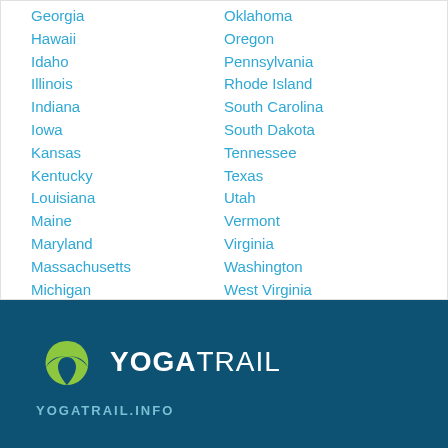Georgia
Hawaii
Idaho
Illinois
Indiana
Iowa
Kansas
Kentucky
Louisiana
Maine
Maryland
Massachusetts
Michigan
Minnesota
Mississippi
Missouri
Oklahoma
Oregon
Pennsylvania
Rhode Island
South Carolina
South Dakota
Tennessee
Texas
Utah
Vermont
Virginia
Washington
West Virginia
Wisconsin
Wyoming
YOGATRAIL — YOGATRAIL.INFO